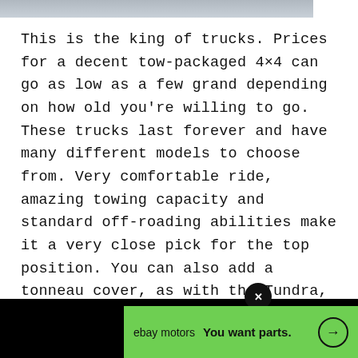[Figure (photo): Partial photo of a truck at the top of the page, cropped at the bottom]
This is the king of trucks. Prices for a decent tow-packaged 4×4 can go as low as a few grand depending on how old you're willing to go. These trucks last forever and have many different models to choose from. Very comfortable ride, amazing towing capacity and standard off-roading abilities make it a very close pick for the top position. You can also add a tonneau cover, as with the Tundra, and sleep inside the truck if you don't want to lug around a full-size tent.
[Figure (screenshot): eBay Motors advertisement banner in green with text 'ebay motors You want parts.' and a circular arrow button, with a black close button above it]